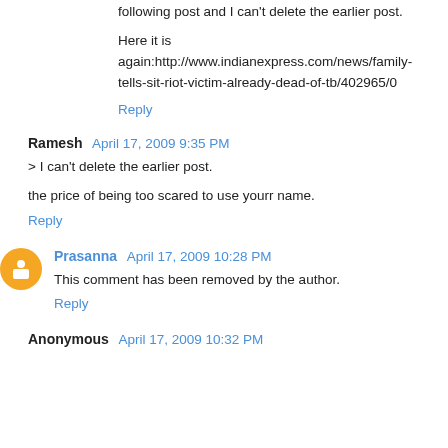following post and I can't delete the earlier post.
Here it is again:http://www.indianexpress.com/news/family-tells-sit-riot-victim-already-dead-of-tb/402965/0
Reply
Ramesh  April 17, 2009 9:35 PM
> I can't delete the earlier post.
the price of being too scared to use yourr name.
Reply
Prasanna  April 17, 2009 10:28 PM
This comment has been removed by the author.
Reply
Anonymous  April 17, 2009 10:32 PM